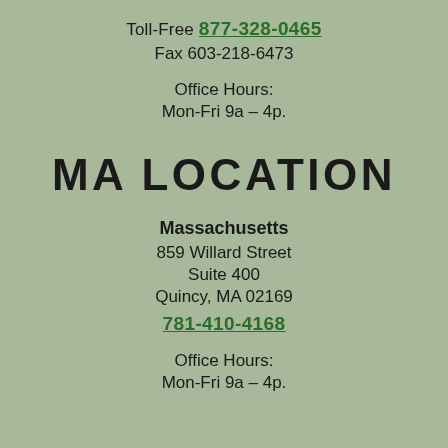Toll-Free 877-328-0465
Fax 603-218-6473
Office Hours:
Mon-Fri 9a – 4p.
MA LOCATION
Massachusetts
859 Willard Street
Suite 400
Quincy, MA 02169
781-410-4168
Office Hours:
Mon-Fri 9a – 4p.